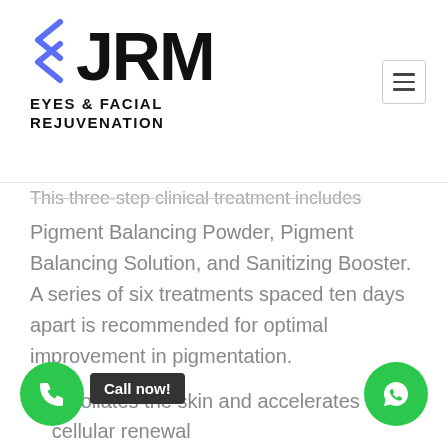[Figure (logo): JRM Eyes & Facial Rejuvenation logo with blue chevron arrows and bold black JRM text]
This three-step clinical treatment includes Pigment Balancing Powder, Pigment Balancing Solution, and Sanitizing Booster. A series of six treatments spaced ten days apart is recommended for optimal improvement in pigmentation.
Exfoliates the skin and accelerates cellular renewal
Visibly improves hyperpigmentation and visible signs of photoaging such as fine li...